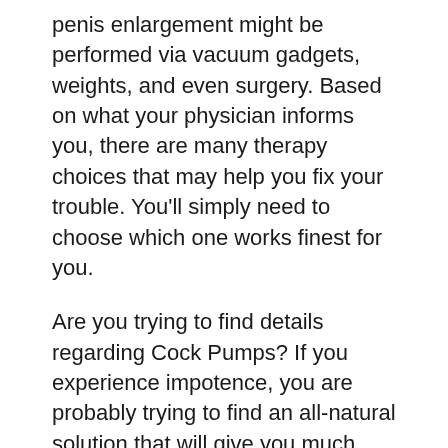penis enlargement might be performed via vacuum gadgets, weights, and even surgery. Based on what your physician informs you, there are many therapy choices that may help you fix your trouble. You’ll simply need to choose which one works finest for you.
Are you trying to find details regarding Cock Pumps? If you experience impotence, you are probably trying to find an all-natural solution that will give you much better nights sleep and also help you conquer your issues with having an inability to obtain an erection when it is needed throughout sex. Lots of people make use of natural supplements to treat erectile dysfunction or various other clinical conditions. Some of these supplements, like Penis Pumps, have